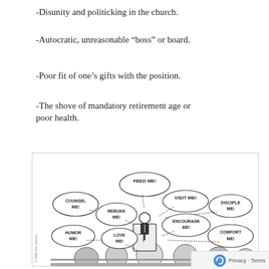-Disunity and politicking in the church.
-Autocratic, unreasonable “boss” or board.
-Poor fit of one’s gifts with the position.
-The shove of mandatory retirement age or poor health.
[Figure (illustration): Cartoon of a pastor standing at a pulpit with a cross, surrounded by congregation members. Speech/thought bubbles from congregants read: FEED ME!, COUNSEL ME!, REBUKE ME!, VISIT ME!, DISCIPLE ME!, HUMOR ME!, LOVE ME!, ENCOURAGE ME!, COMFORT ME!]
Privacy · Terms